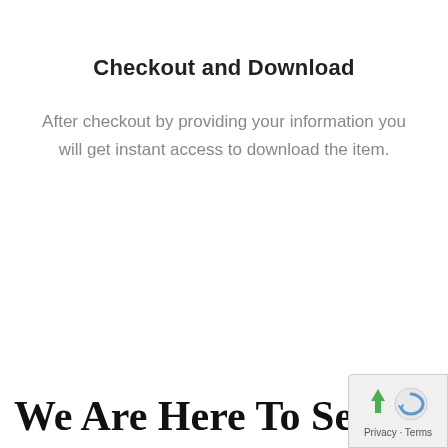[Figure (illustration): Partial green circle arc visible at top center of the page]
Checkout and Download
After checkout by providing your information you will get instant access to download the item.
We Are Here To Serve Yo